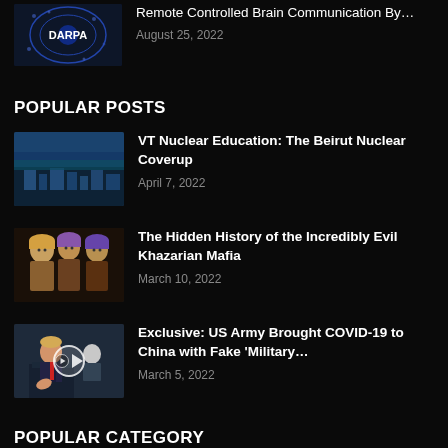[Figure (photo): DARPA logo thumbnail - dark blue with circuit pattern]
Remote Controlled Brain Communication By…
August 25, 2022
POPULAR POSTS
[Figure (photo): Aerial view of ancient city - Beirut nuclear coverup article thumbnail]
VT Nuclear Education: The Beirut Nuclear Coverup
April 7, 2022
[Figure (photo): Illustration of Khazarian men in historical dress]
The Hidden History of the Incredibly Evil Khazarian Mafia
March 10, 2022
[Figure (photo): Photo of Trump at podium with play button overlay]
Exclusive: US Army Brought COVID-19 to China with Fake 'Military…
March 5, 2022
POPULAR CATEGORY